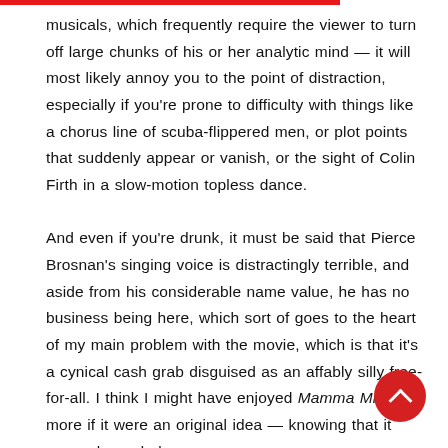musicals, which frequently require the viewer to turn off large chunks of his or her analytic mind — it will most likely annoy you to the point of distraction, especially if you're prone to difficulty with things like a chorus line of scuba-flippered men, or plot points that suddenly appear or vanish, or the sight of Colin Firth in a slow-motion topless dance.

And even if you're drunk, it must be said that Pierce Brosnan's singing voice is distractingly terrible, and aside from his considerable name value, he has no business being here, which sort of goes to the heart of my main problem with the movie, which is that it's a cynical cash grab disguised as an affably silly free-for-all. I think I might have enjoyed Mamma Mia! more if it were an original idea — knowing that it was only made because